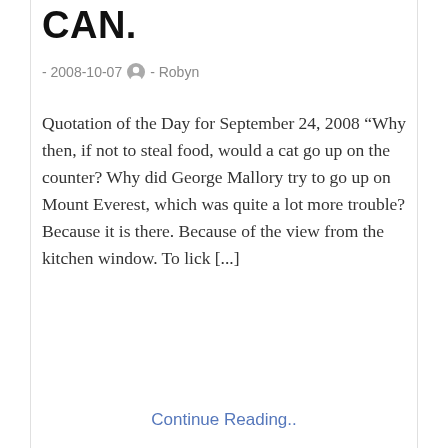CAN.
- 2008-10-07  - Robyn
Quotation of the Day for September 24, 2008 “Why then, if not to steal food, would a cat go up on the counter? Why did George Mallory try to go up on Mount Everest, which was quite a lot more trouble? Because it is there. Because of the view from the kitchen window. To lick [...]
Continue Reading..